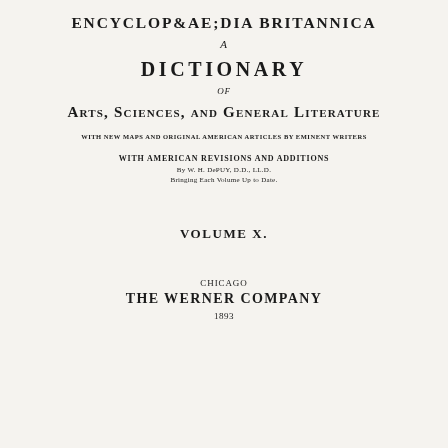ENCYCLOPÆDIA BRITANNICA
A
DICTIONARY
OF
ARTS, SCIENCES, AND GENERAL LITERATURE
WITH NEW MAPS AND ORIGINAL AMERICAN ARTICLES BY EMINENT WRITERS
WITH AMERICAN REVISIONS AND ADDITIONS
By W. H. DePUY, D.D., LL.D.
Bringing Each Volume Up to Date.
VOLUME X.
CHICAGO
THE WERNER COMPANY
1893